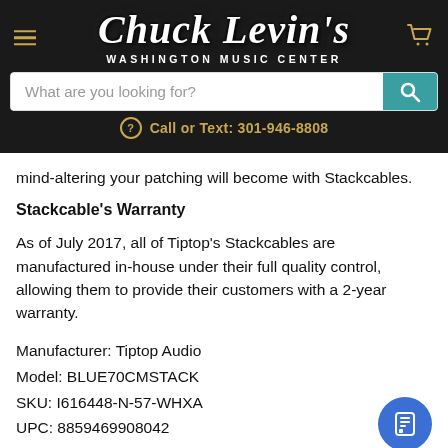Chuck Levin's Washington Music Center — navigation header with search bar and call info
mind-altering your patching will become with Stackcables.
Stackcable's Warranty
As of July 2017, all of Tiptop's Stackcables are manufactured in-house under their full quality control, allowing them to provide their customers with a 2-year warranty.
Manufacturer: Tiptop Audio
Model: BLUE70CMSTACK
SKU: I616448-N-57-WHXA
UPC: 8859469908042